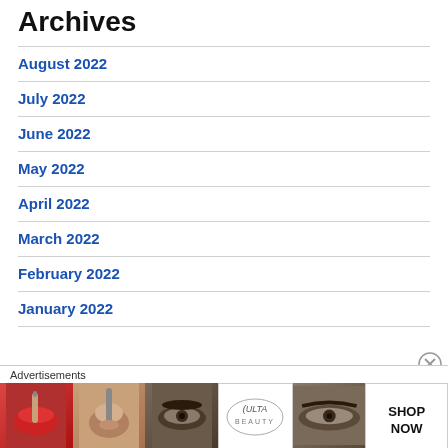Archives
August 2022
July 2022
June 2022
May 2022
April 2022
March 2022
February 2022
January 2022
Advertisements
[Figure (illustration): Ulta Beauty advertisement banner with makeup imagery including lips with lipstick brush, eye with eyebrow pencil, Ulta Beauty logo, smoky eye closeup, and SHOP NOW call to action]